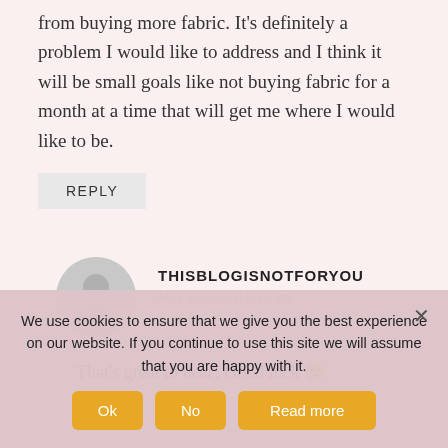from buying more fabric. It's definitely a problem I would like to address and I think it will be small goals like not buying fabric for a month at a time that will get me where I would like to be.
REPLY
THISBLOGISNOTFORYOU
May 1, 2020 at 9:16 am
That's great to hear! Good luck 🙂
We use cookies to ensure that we give you the best experience on our website. If you continue to use this site we will assume that you are happy with it.
Ok
No
Read more